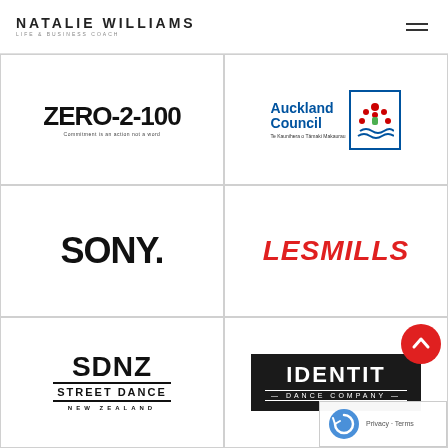NATALIE WILLIAMS LIFE & BUSINESS COACH
[Figure (logo): ZERO-2-100 logo with tagline 'Commitment is an action not a word']
[Figure (logo): Auckland Council logo with Te Kaunihera o Tamaki Makaurau]
[Figure (logo): SONY logo]
[Figure (logo): LesMills logo in red italic]
[Figure (logo): SDNZ Street Dance New Zealand logo]
[Figure (logo): Identit Dance Company logo on dark background]